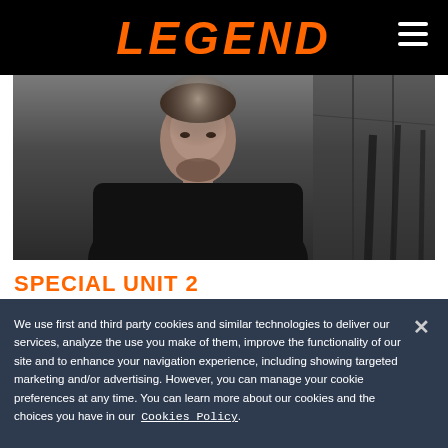LEGEND
[Figure (photo): A man wearing a black sweater standing near a concrete wall, upper body shot, dark moody lighting]
SPECIAL UNIT 2
We use first and third party cookies and similar technologies to deliver our services, analyze the use you make of them, improve the functionality of our site and to enhance your navigation experience, including showing targeted marketing and/or advertising. However, you can manage your cookie preferences at any time. You can learn more about our cookies and the choices you have in our Cookies Policy.